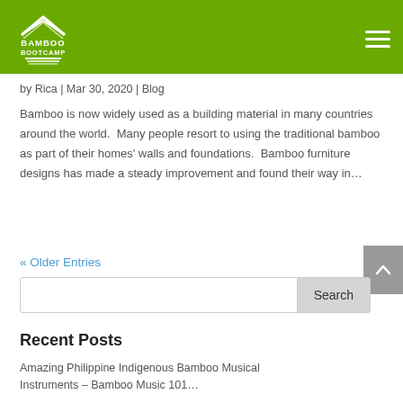Bamboo Bootcamp
by Rica | Mar 30, 2020 | Blog
Bamboo is now widely used as a building material in many countries around the world.  Many people resort to using the traditional bamboo as part of their homes' walls and foundations.  Bamboo furniture designs has made a steady improvement and found their way in...
« Older Entries
Search
Recent Posts
Amazing Philippine Indigenous Bamboo Musical Instruments – Bamboo Music 101